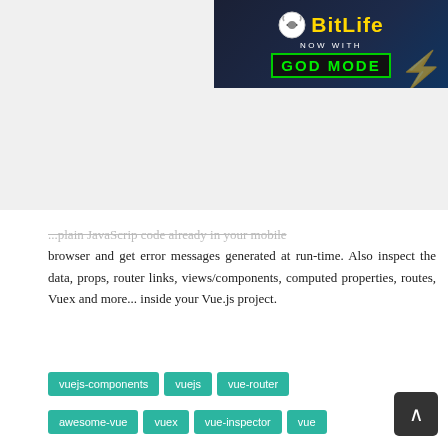[Figure (screenshot): BitLife ad banner with 'NOW WITH GOD MODE' text]
...plain JavaScript code already in your mobile browser and get error messages generated at run-time. Also inspect the data, props, router links, views/components, computed properties, routes, Vuex and more... inside your Vue.js project.
vuejs-components
vuejs
vue-router
awesome-vue
vuex
vue-inspector
vue
inspector
vuex-i18n - Localization plugin for vue.js 2.0 using vuex as store
★★★★ Javascript